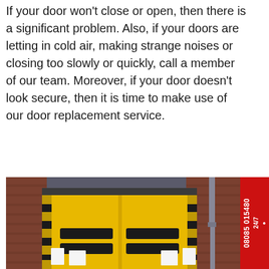If your door won't close or open, then there is a significant problem. Also, if your doors are letting in cold air, making strange noises or closing too slowly or quickly, call a member of our team. Moreover, if your door doesn't look secure, then it is time to make use of our door replacement service.
[Figure (photo): Yellow industrial rapid roller door set in a brick wall with black and yellow safety bumpers on the sides, warning signs visible, and a metal drainpipe on the right side]